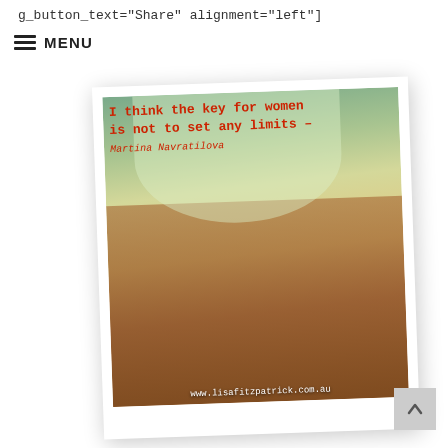g_button_text="Share" alignment="left"]
≡ MENU
[Figure (photo): A polaroid-style photograph showing a group of women sitting together in a warmly lit room, laughing and gesturing. A large window with green foliage is visible behind them. Overlaid in red typewriter font is the quote: 'I think the key for women is not to set any limits – Martina Navratilova'. The website www.lisafitzpatrick.com.au appears at the bottom of the image.]